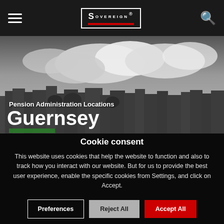[Figure (logo): Sovereign brand logo in white text on dark background with red bar underneath, inside a white border box]
[Figure (photo): Black and white photograph of Guernsey cityscape with cloudy sky. Text overlay reads 'Pension Administration Locations' and large 'Guernsey' title with green bar accent.]
Cookie consent
This website uses cookies that help the website to function and also to track how you interact with our website. But for us to provide the best user experience, enable the specific cookies from Settings, and click on Accept.